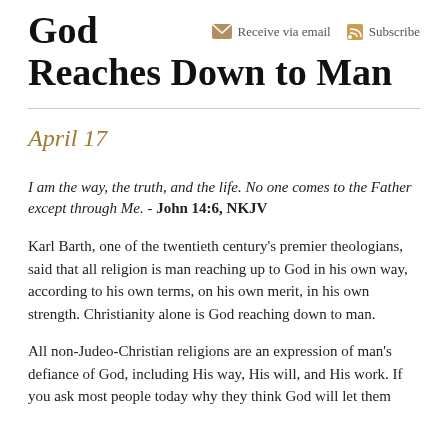God Reaches Down to Man
Receive via email   Subscribe
April 17
I am the way, the truth, and the life. No one comes to the Father except through Me. - John 14:6, NKJV
Karl Barth, one of the twentieth century's premier theologians, said that all religion is man reaching up to God in his own way, according to his own terms, on his own merit, in his own strength. Christianity alone is God reaching down to man.
All non-Judeo-Christian religions are an expression of man's defiance of God, including His way, His will, and His work. If you ask most people today why they think God will let them